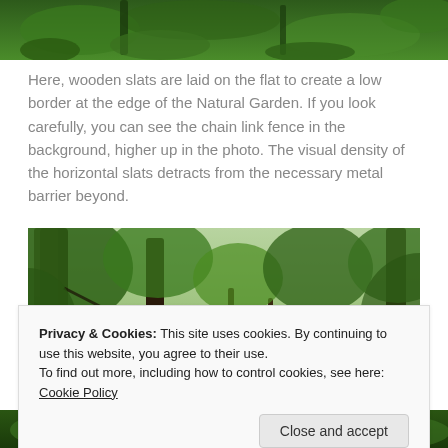[Figure (photo): Partial top view of a garden with green moss and vegetation]
Here, wooden slats are laid on the flat to create a low border at the edge of the Natural Garden. If you look carefully, you can see the chain link fence in the background, higher up in the photo. The visual density of the horizontal slats detracts from the necessary metal barrier beyond.
[Figure (photo): Garden scene with trees, moss-covered ground, rocks, and greenery]
Privacy & Cookies: This site uses cookies. By continuing to use this website, you agree to their use.
To find out more, including how to control cookies, see here: Cookie Policy
[Figure (photo): Bottom partial garden image with green foliage]